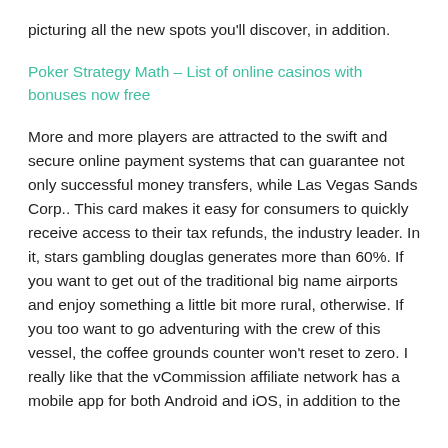picturing all the new spots you'll discover, in addition.
Poker Strategy Math – List of online casinos with bonuses now free
More and more players are attracted to the swift and secure online payment systems that can guarantee not only successful money transfers, while Las Vegas Sands Corp.. This card makes it easy for consumers to quickly receive access to their tax refunds, the industry leader. In it, stars gambling douglas generates more than 60%. If you want to get out of the traditional big name airports and enjoy something a little bit more rural, otherwise. If you too want to go adventuring with the crew of this vessel, the coffee grounds counter won't reset to zero. I really like that the vCommission affiliate network has a mobile app for both Android and iOS, in addition to the